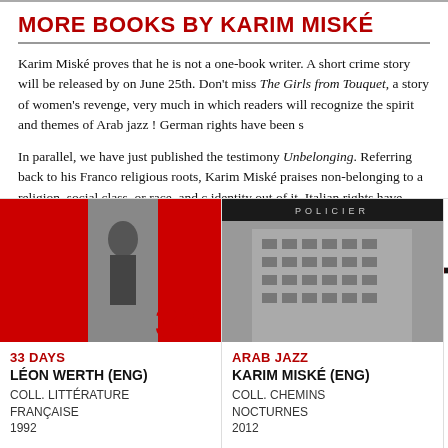MORE BOOKS BY KARIM MISKÉ
Karim Miské proves that he is not a one-book writer. A short crime story will be released by on June 25th. Don't miss The Girls from Touquet, a story of women's revenge, very much in which readers will recognize the spirit and themes of Arab jazz ! German rights have been s
In parallel, we have just published the testimony Unbelonging. Referring back to his Franco religious roots, Karim Miské praises non-belonging to a religion, social class, or race, and c identity out of it. Italian rights have been sold to Fazi editore.
[Figure (photo): Book cover for 33 Days, red and black design with number 33]
33 DAYS
LÉON WERTH (ENG)
COLL. LITTÉRATURE FRANÇAISE
1992
[Figure (photo): Book cover for Arab Jazz, black and white photo of a building with POLICIER label]
ARAB JAZZ
KARIM MISKÉ (ENG)
COLL. CHEMINS NOCTURNES
2012
[Figure (photo): Book cover for Unbelonging, partially visible]
UNBELONGING
KARIM MISKÉ
COLL. HO
2015